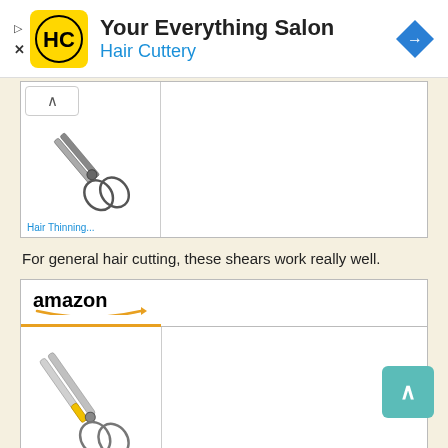[Figure (infographic): Hair Cuttery advertisement banner with yellow HC logo, title 'Your Everything Salon', subtitle 'Hair Cuttery' in blue, and blue navigation diamond icon on right]
[Figure (photo): Partially visible product card showing hair thinning scissors on white background with blue label text partially visible at bottom reading 'Hair Thinning...']
For general hair cutting, these shears work really well.
[Figure (infographic): Amazon product card showing scissors with yellow handle on white background, amazon logo with orange arrow at top, blue label text partially visible at bottom reading 'Equinox...']
Great! Armed with the right tools, and an old towel or